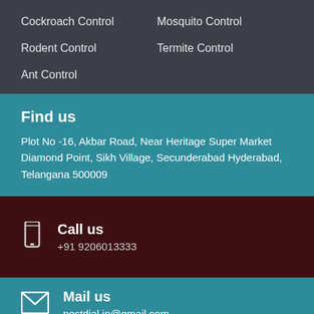Cockroach Control
Mosquito Control
Rodent Control
Termite Control
Ant Control
Find us
Plot No -16, Akbar Road, Near Heritage Super Market Diamond Point, Sikh Village, Secunderabad Hyderabad, Telangana 500009
Call us
+91 9206013333
Mail us
pestdial.in@gmail.com
Call Us